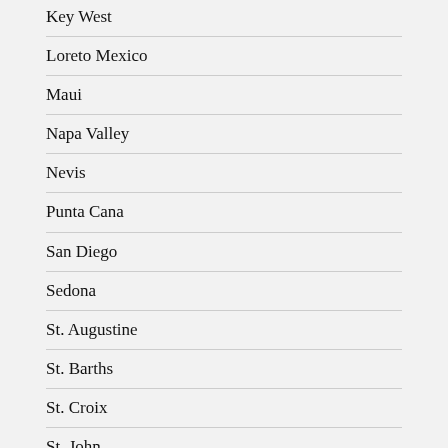Key West
Loreto Mexico
Maui
Napa Valley
Nevis
Punta Cana
San Diego
Sedona
St. Augustine
St. Barths
St. Croix
St. John
St. Thomas